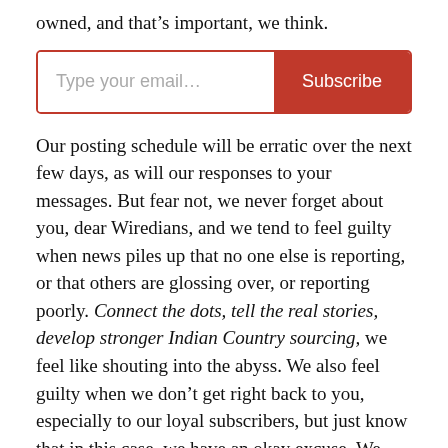owned, and that’s important, we think.
[Figure (other): Email subscription input box with placeholder text 'Type your email...' and a red 'Subscribe' button]
Our posting schedule will be erratic over the next few days, as will our responses to your messages. But fear not, we never forget about you, dear Wiredians, and we tend to feel guilty when news piles up that no one else is reporting, or that others are glossing over, or reporting poorly. Connect the dots, tell the real stories, develop stronger Indian Country sourcing, we feel like shouting into the abyss. We also feel guilty when we don’t get right back to you, especially to our loyal subscribers, but just know that in this case, we have an okay excuse. We gotta hustle to make this work.
Also, if you have an iPhone, here’s a plug for you to